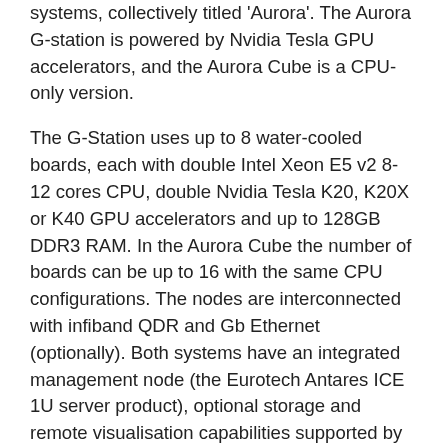systems, collectively titled 'Aurora'. The Aurora G-station is powered by Nvidia Tesla GPU accelerators, and the Aurora Cube is a CPU-only version.
The G-Station uses up to 8 water-cooled boards, each with double Intel Xeon E5 v2 8-12 cores CPU, double Nvidia Tesla K20, K20X or K40 GPU accelerators and up to 128GB DDR3 RAM. In the Aurora Cube the number of boards can be up to 16 with the same CPU configurations. The nodes are interconnected with infiband QDR and Gb Ethernet (optionally). Both systems have an integrated management node (the Eurotech Antares ICE 1U server product), optional storage and remote visualisation capabilities supported by NICE DCV software.
Both systems are fan-less and fully liquid cooled to prevent excessive noise, both also feature an intelligent backplane which provides nodes that interconnect and distribute the water and low voltage electrical power. The Aurora systems are built using the same architecture as the Aurora Tigron supercomputers which aims to maximise performance, energy efficiency and